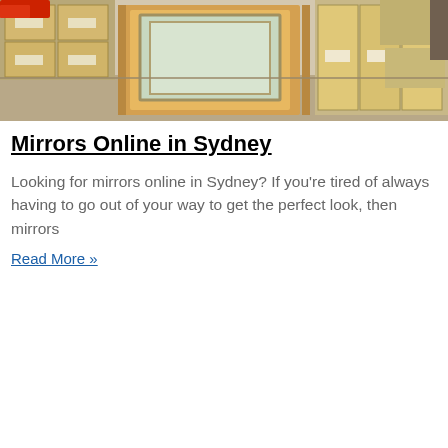[Figure (photo): Warehouse interior showing large framed mirrors or glass panels wrapped in cardboard, stacked on pallets, with boxes on shelving in background and a red vehicle partially visible at top left.]
Mirrors Online in Sydney
Looking for mirrors online in Sydney? If you're tired of always having to go out of your way to get the perfect look, then mirrors
Read More »